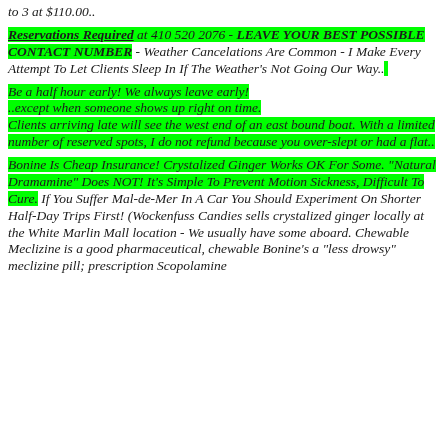to 3 at $110.00..
Reservations Required at 410 520 2076 - LEAVE YOUR BEST POSSIBLE CONTACT NUMBER - Weather Cancelations Are Common - I Make Every Attempt To Let Clients Sleep In If The Weather's Not Going Our Way..
Be a half hour early! We always leave early! ..except when someone shows up right on time. Clients arriving late will see the west end of an east bound boat. With a limited number of reserved spots, I do not refund because you over-slept or had a flat..
Bonine Is Cheap Insurance! Crystalized Ginger Works OK For Some. "Natural Dramamine" Does NOT! It's Simple To Prevent Motion Sickness, Difficult To Cure. If You Suffer Mal-de-Mer In A Car You Should Experiment On Shorter Half-Day Trips First! (Wockenfuss Candies sells crystalized ginger locally at the White Marlin Mall location - We usually have some aboard. Chewable Meclizine is a good pharmaceutical, chewable Bonine's a "less drowsy" meclizine pill; prescription Scopolamine